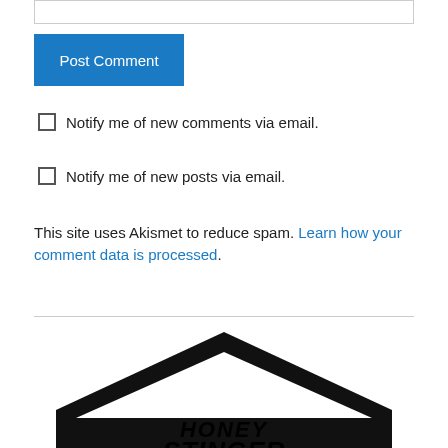[input field]
Post Comment
Notify me of new comments via email.
Notify me of new posts via email.
This site uses Akismet to reduce spam. Learn how your comment data is processed.
[Figure (logo): Honey Stinger logo — black hexagon shape with 'HONEY STINGER' text in bold black italic font inside]